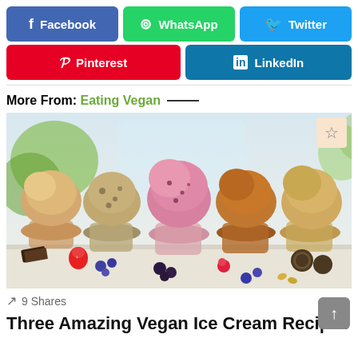[Figure (screenshot): Social media share buttons: Facebook (blue), WhatsApp (green), Twitter (light blue) in first row; Pinterest (red), LinkedIn (blue) in second row]
More From: Eating Vegan —
[Figure (photo): Five jars of vegan ice cream in various flavors (caramel, cookie, berry/strawberry, chocolate, peanut butter) surrounded by fresh berries, chocolate pieces, cookies and nuts on a white surface]
9 Shares
Three Amazing Vegan Ice Cream Recipes